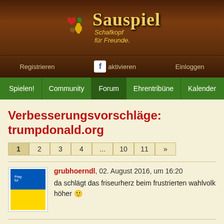[Figure (logo): Sauspiel logo with colorful card suit icons and text 'Sauspiel Schafkopf für Freunde.' on dark wood background]
Registrieren | f aktivieren | Einloggen
Spielen! | Community | Forum | Ehrentribüne | Kalender
Verbesserungsvorschläge: trumpdonald.org
1 2 3 4 ... 10 11 »
grubhoerndl, 02. August 2016, um 16:20
da schlägt das friseurherz beim frustrierten wahlvolk höher 🙂
krattler, 02. August 2016, um 16:25
hahaha, is des geil!